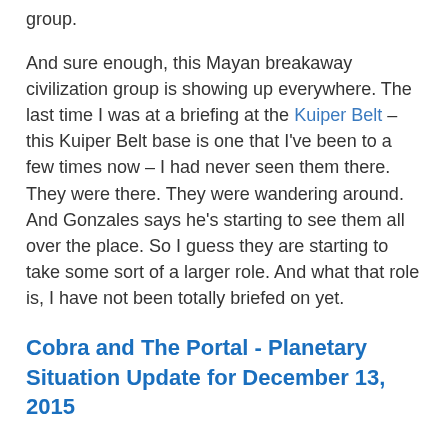group.
And sure enough, this Mayan breakaway civilization group is showing up everywhere. The last time I was at a briefing at the Kuiper Belt – this Kuiper Belt base is one that I've been to a few times now – I had never seen them there. They were there. They were wandering around. And Gonzales says he's starting to see them all over the place. So I guess they are starting to take some sort of a larger role. And what that role is, I have not been totally briefed on yet.
Cobra and The Portal - Planetary Situation Update for December 13, 2015
David: Well, this is really fascinating, and I thank you for continuing to suffer through all the incredible stuff. You had helicopters circling your house five times. A black